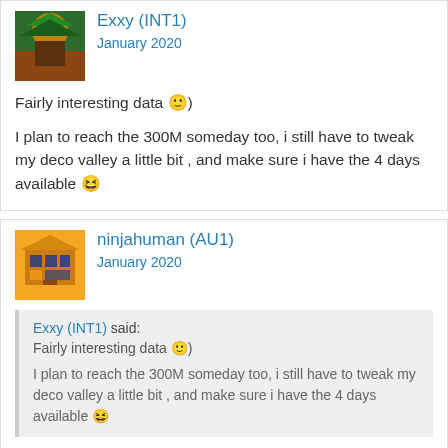Exxy (INT1)
January 2020
Fairly interesting data 🙂)
I plan to reach the 300M someday too, i still have to tweak my deco valley a little bit , and make sure i have the 4 days available 😆
ninjahuman (AU1)
January 2020
Exxy (INT1) said: Fairly interesting data 🙂) I plan to reach the 300M someday too, i still have to tweak my deco valley a little bit , and make sure i have the 4 days available 😆
Ok nice. I just looked at your decoration valley and I think it is already good enough to get the country manor. Hopefully you